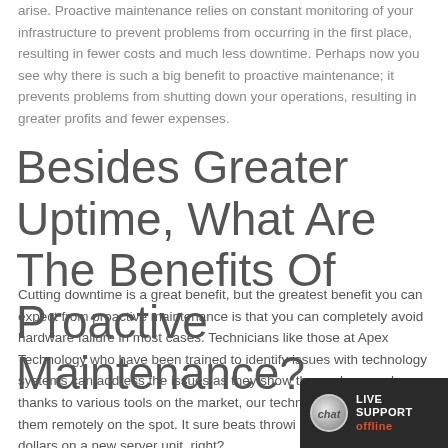arise. Proactive maintenance relies on constant monitoring of your infrastructure to prevent problems from occurring in the first place, resulting in fewer costs and much less downtime. Perhaps now you see why there is such a big benefit to proactive maintenance; it prevents problems from shutting down your operations, resulting in greater profits and fewer expenses.
Besides Greater Uptime, What Are The Benefits Of Proactive Maintenance?
Cutting downtime is a great benefit, but the greatest benefit you can expect from proactive maintenance is that you can completely avoid hardware failure in most cases. Technicians like those at Apex Technology who have been trained to identify issues with technology systems can address the issues as they show themselves, and thanks to various tools on the market, our technicians can address them remotely on the spot. It sure beats throwi... dollars on a new server unit, right?
[Figure (other): Live Support chat widget showing 'chat' icon and LIVE SUPPORT offline status in dark background]